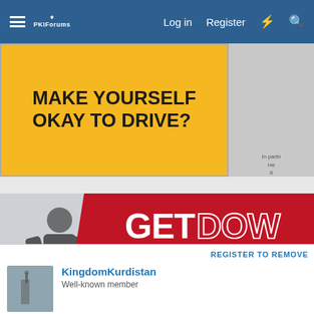Log in  Register
[Figure (screenshot): Yellow advertisement banner reading MAKE YOURSELF OKAY TO DRIVE?]
[Figure (screenshot): Red advertisement banner reading GET DOWN WITH YOUR BLOOD PRESSURE, in partnership with the Office of Minority Health and Health Re...]
REGISTER TO REMOVE
KingdomKurdistan
Well-known member
Oct 28, 2021  #101